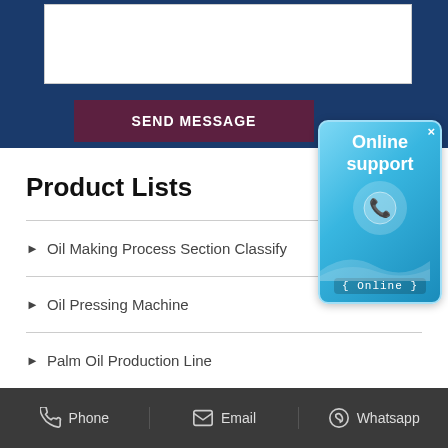[Figure (screenshot): Top blue contact form section with white textarea and dark red SEND MESSAGE button]
[Figure (infographic): Online support popup badge with phone icon and Online label, light blue gradient design]
Product Lists
Oil Making Process Section Classify
Oil Pressing Machine
Palm Oil Production Line
Vegetable Oil Production Line
Phone   Email   Whatsapp